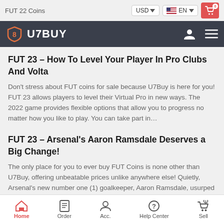FUT 22 Coins | USD | EN | Cart
[Figure (logo): U7BUY logo with shield icon on dark navigation bar]
FUT 23 – How To Level Your Player In Pro Clubs And Volta
Don't stress about FUT coins for sale because U7Buy is here for you! FUT 23 allows players to level their Virtual Pro in new ways. The 2022 game provides flexible options that allow you to progress no matter how you like to play. You can take part in…
FUT 23 – Arsenal's Aaron Ramsdale Deserves a Big Change!
The only place for you to ever buy FUT Coins is none other than U7Buy, offering unbeatable prices unlike anywhere else! Quietly, Arsenal's new number one (1) goalkeeper, Aaron Ramsdale, usurped international shot-stopper, Bernd Leno, on the team a…
Home | Order | Acc. | Help Center | Sell